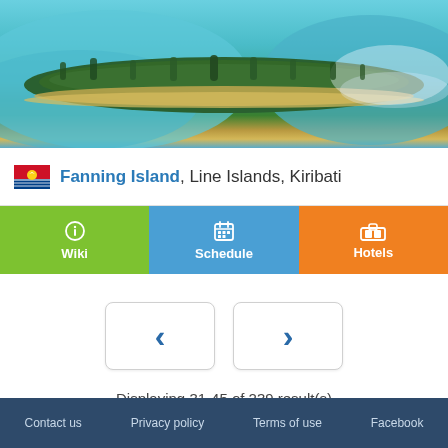[Figure (photo): Aerial photograph of Fanning Island (Tabuaeran), showing a narrow strip of land with dense tropical vegetation and beaches, surrounded by turquoise ocean waters.]
Fanning Island, Line Islands, Kiribati
[Figure (infographic): Navigation tab bar with three sections: Wiki (green), Schedule (blue), Hotels (orange), each with an icon.]
[Figure (infographic): Pagination controls: left arrow button and right arrow button]
Displaying 31-45 of 239 result(s)
Contact us   Privacy policy   Terms of use   Facebook